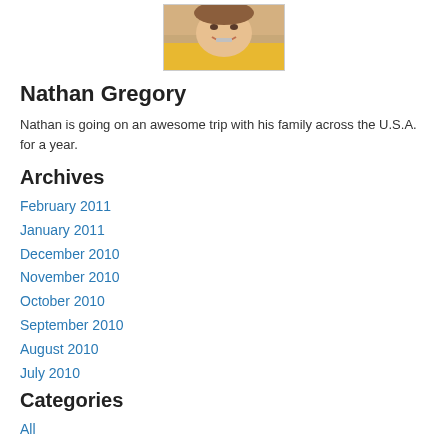[Figure (photo): Close-up photo of a person smiling, wearing yellow, cropped at top of page]
Nathan Gregory
Nathan is going on an awesome trip with his family across the U.S.A. for a year.
Archives
February 2011
January 2011
December 2010
November 2010
October 2010
September 2010
August 2010
July 2010
Categories
All
RSS Feed